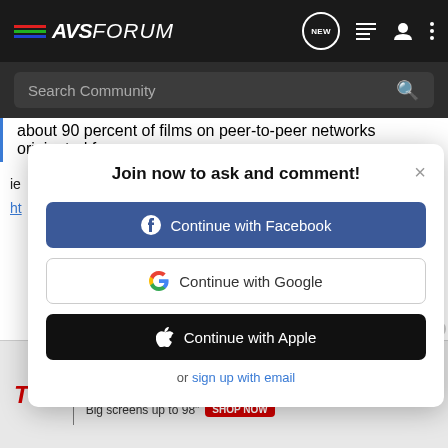[Figure (screenshot): AVSForum website navigation bar with logo, NEW chat bubble icon, list icon, user icon, and three-dots menu]
[Figure (screenshot): Search Community search bar on dark background]
about 90 percent of films on peer-to-peer networks originated from
[Figure (screenshot): Modal dialog: Join now to ask and comment! with Continue with Facebook, Continue with Google, Continue with Apple buttons, and 'or sign up with email' link]
[Figure (screenshot): TCL advertisement: LIVE LARGE. Big screens up to 98" SHOP NOW]